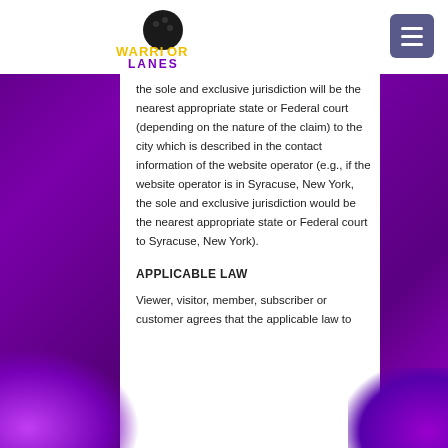[Figure (logo): Warrior Lanes bowling alley logo with bowling ball and text]
the sole and exclusive jurisdiction will be the nearest appropriate state or Federal court (depending on the nature of the claim) to the city which is described in the contact information of the website operator (e.g., if the website operator is in Syracuse, New York, the sole and exclusive jurisdiction would be the nearest appropriate state or Federal court to Syracuse, New York).
APPLICABLE LAW
Viewer, visitor, member, subscriber or customer agrees that the applicable law to